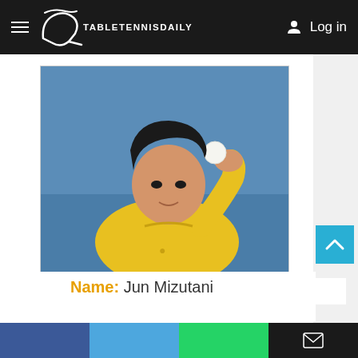TableTennisDaily — Log in
[Figure (photo): Jun Mizutani, Japanese table tennis player, in yellow jersey holding a table tennis ball up to his face, ready to serve]
Name: Jun Mizutani
Nationality: Japan
Date Of Birth: June 9, 1989
Height 1.72 m (5 ft 7 1⁄2 in)
Weight 68 kg (150 lb; 10.7 st)
Social share bar: Facebook, Twitter, WhatsApp, Email